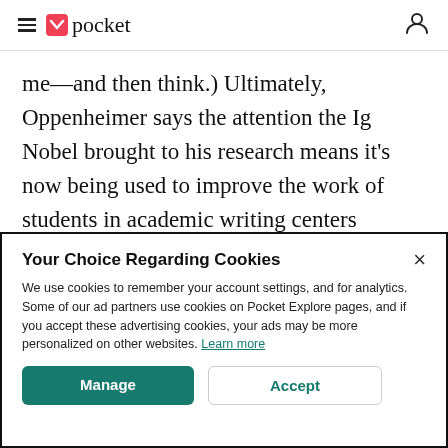pocket
me—and then think.) Ultimately, Oppenheimer says the attention the Ig Nobel brought to his research means it's now being used to improve the work of students in academic writing centers around the country.
Your Choice Regarding Cookies
We use cookies to remember your account settings, and for analytics. Some of our ad partners use cookies on Pocket Explore pages, and if you accept these advertising cookies, your ads may be more personalized on other websites. Learn more
Manage
Accept